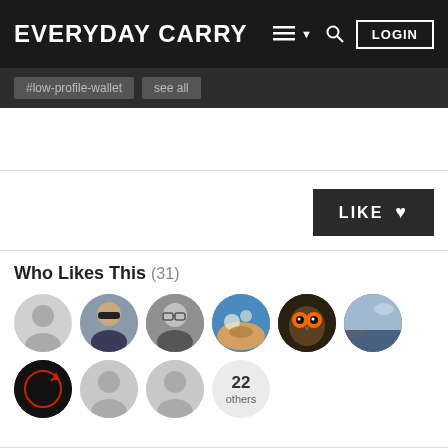EVERYDAY CARRY
#low-profile-wallet  see all
LIKE
Who Likes This (31)
[Figure (photo): Row of user avatar profile pictures showing 6 avatars in top row (blank silhouette, man with sunglasses, man with glasses, scenic/sky photo, owl with orange eyes, landscape) and 4 in bottom row (dark circle with red symbol, 2 blank grey silhouettes, and a circle showing '22 others')]